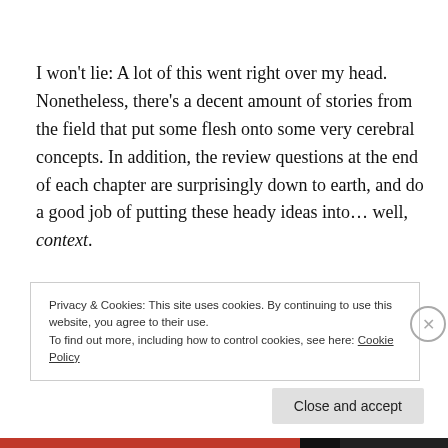I won't lie: A lot of this went right over my head. Nonetheless, there's a decent amount of stories from the field that put some flesh onto some very cerebral concepts. In addition, the review questions at the end of each chapter are surprisingly down to earth, and do a good job of putting these heady ideas into… well, context.
Obviously, this is intended to become a textbook to help missions and seminary students understand the
Privacy & Cookies: This site uses cookies. By continuing to use this website, you agree to their use.
To find out more, including how to control cookies, see here: Cookie Policy